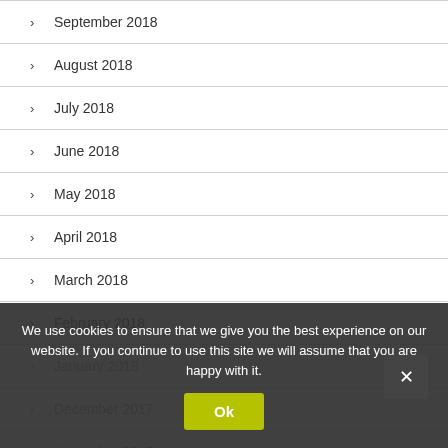September 2018
August 2018
July 2018
June 2018
May 2018
April 2018
March 2018
February 2018
January 2018
December 2017
November 2017
We use cookies to ensure that we give you the best experience on our website. If you continue to use this site we will assume that you are happy with it.
Ok